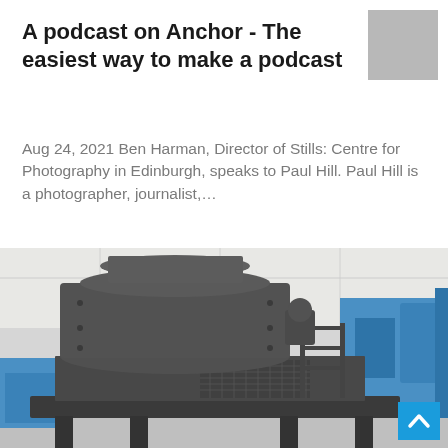A podcast on Anchor - The easiest way to make a podcast
[Figure (photo): Small grey thumbnail image in top right corner]
Aug 24, 2021 Ben Harman, Director of Stills: Centre for Photography in Edinburgh, speaks to Paul Hill. Paul Hill is a photographer, journalist,…
[Figure (photo): Large photograph of a heavy industrial machine (crusher or similar mining/construction equipment) in dark grey metal, inside a factory/warehouse with blue machinery visible in the background.]